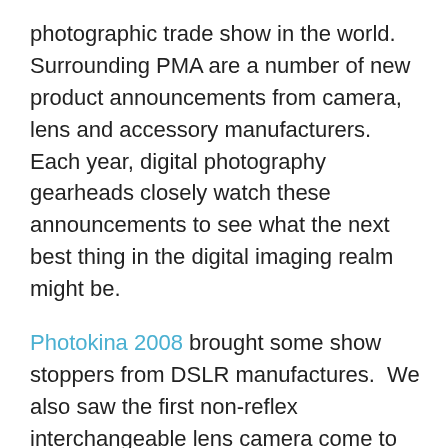photographic trade show in the world. Surrounding PMA are a number of new product announcements from camera, lens and accessory manufacturers.  Each year, digital photography gearheads closely watch these announcements to see what the next best thing in the digital imaging realm might be.
Photokina 2008 brought some show stoppers from DSLR manufactures.  We also saw the first non-reflex interchangeable lens camera come to market – the Panasonic G1.  Leading up to PMA 2009, Photography Bay will be following some of the rumors and leaks that are sure to come from a variety of sources.  I'll also be giving my editorial commentary on what I think we'll be seeing the next couple of months or so.